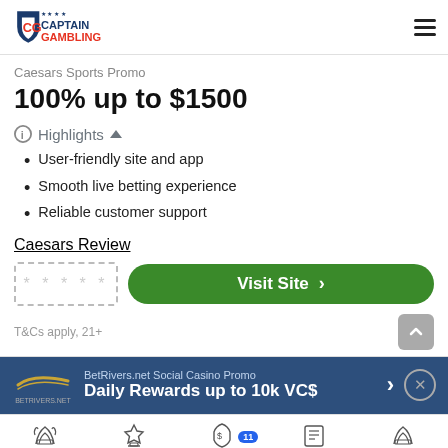CaptainGambling
Caesars Sports Promo
100% up to $1500
Highlights
User-friendly site and app
Smooth live betting experience
Reliable customer support
Caesars Review
***** Visit Site >
T&Cs apply, 21+
BetRivers.net Social Casino Promo Daily Rewards up to 10k VC$
Free To Play Casinos  Sportsbooks  Betting Promos  Picks  Casino